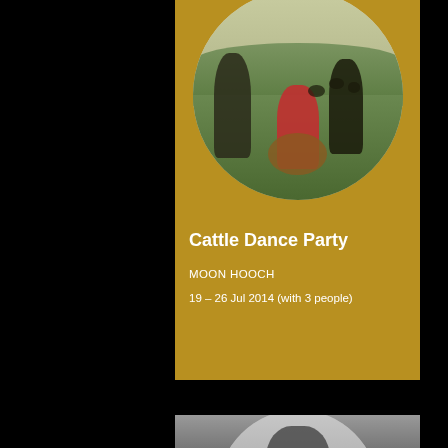[Figure (photo): Music album card showing a band (Moon Hooch) playing instruments in a field with cattle in background. The image is cropped in a circular vinyl record shape. Below is a golden/mustard colored panel with album and artist info.]
Cattle Dance Party
MOON HOOCH
19 – 26 Jul 2014 (with 3 people)
[Figure (photo): Partial view of a second album card at the bottom of the page, showing a black and white image of a creature/mask face.]